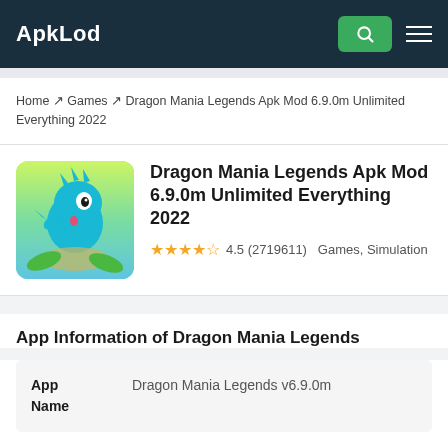ApkLod
Home → Games → Dragon Mania Legends Apk Mod 6.9.0m Unlimited Everything 2022
Dragon Mania Legends Apk Mod 6.9.0m Unlimited Everything 2022
4.5 (2719611)  Games, Simulation
App Information of Dragon Mania Legends
| App Name |  |
| --- | --- |
| App Name | Dragon Mania Legends v6.9.0m |